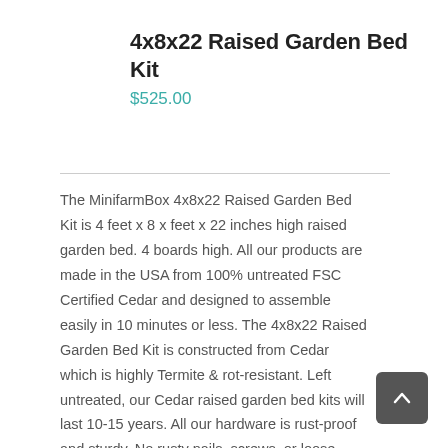4x8x22 Raised Garden Bed Kit
$525.00
The MinifarmBox 4x8x22 Raised Garden Bed Kit is 4 feet x 8 x feet x 22 inches high raised garden bed. 4 boards high. All our products are made in the USA from 100% untreated FSC Certified Cedar and designed to assemble easily in 10 minutes or less. The 4x8x22 Raised Garden Bed Kit is constructed from Cedar which is highly Termite & rot-resistant. Left untreated, our Cedar raised garden bed kits will last 10-15 years. All our hardware is rust-proof and sturdy. No rusty nails, screws, or loose joints. Giving back to the community MiniFarmBox gives 10%